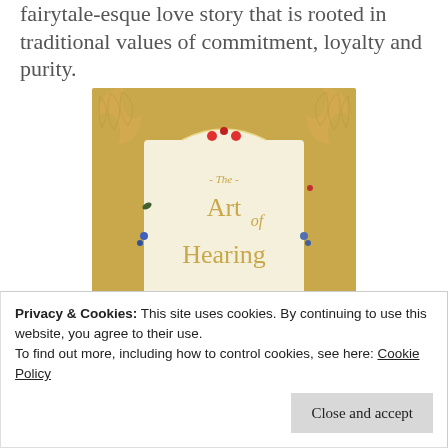fairytale-esque love story that is rooted in traditional values of commitment, loyalty and purity.
[Figure (illustration): Book cover for 'The Art of Hearing Heartbeats' with ornate golden paisley border on cream background and colorful small flowers]
Privacy & Cookies: This site uses cookies. By continuing to use this website, you agree to their use. To find out more, including how to control cookies, see here: Cookie Policy
Close and accept